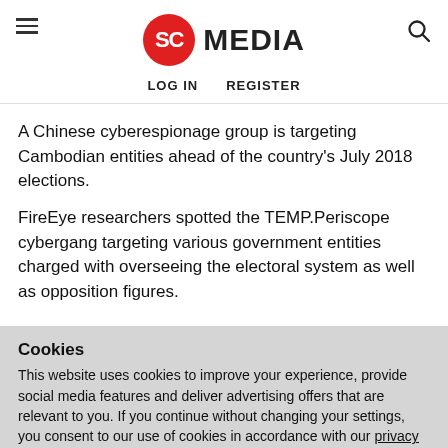SC MEDIA
LOG IN   REGISTER
A Chinese cyberespionage group is targeting Cambodian entities ahead of the country's July 2018 elections.
FireEye researchers spotted the TEMP.Periscope cybergang targeting various government entities charged with overseeing the electoral system as well as opposition figures.
Cookies
This website uses cookies to improve your experience, provide social media features and deliver advertising offers that are relevant to you. If you continue without changing your settings, you consent to our use of cookies in accordance with our privacy policy. You may disable cookies.